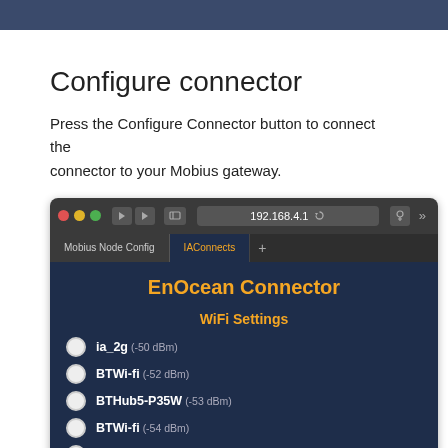Configure connector
Press the Configure Connector button to connect the connector to your Mobius gateway.
[Figure (screenshot): Browser screenshot showing the EnOcean Connector web interface at 192.168.4.1 with WiFi Settings listing: ia_2g (-50 dBm), BTWi-fi (-52 dBm), BTHub5-P35W (-53 dBm), BTWi-fi (-54 dBm), BTHub5-HQ7C (-59 dBm), BTWifi-with-FON (-59 dBm)]